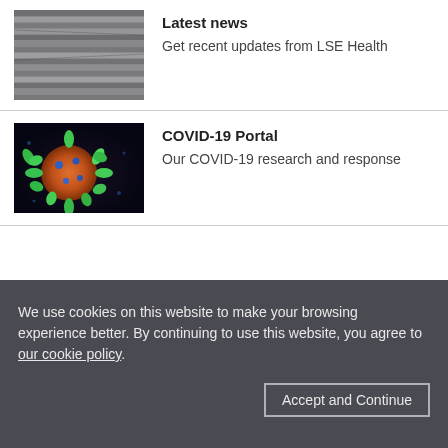[Figure (photo): Stack of newspapers or metal blinds seen from the side, grayscale texture]
Latest news
Get recent updates from LSE Health
[Figure (photo): Microscopic image of a coronavirus particle with green spikes on orange body against dark background]
COVID-19 Portal
Our COVID-19 research and response
We use cookies on this website to make your browsing experience better. By continuing to use this website, you agree to our cookie policy.